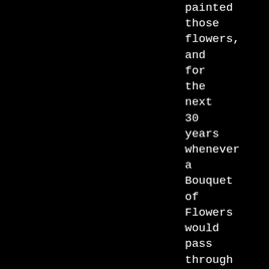painted those flowers, and for the next 30 years whenever a Bouquet of Flowers would pass through our house they would